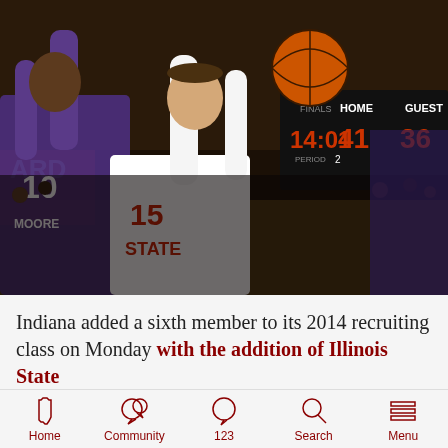[Figure (photo): Basketball game photo showing a player in a white Illinois State #15 jersey shooting the ball over a defender wearing purple jersey #10 (MOORE). A scoreboard in the background shows HOME 41, GUEST 36, time 14:01, PERIOD 2.]
Indiana added a sixth member to its 2014 recruiting class on Monday with the addition of Illinois State
Home  Community  123  Search  Menu